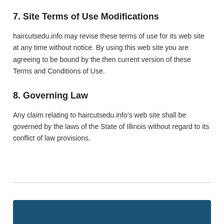7. Site Terms of Use Modifications
haircutsedu.info may revise these terms of use for its web site at any time without notice. By using this web site you are agreeing to be bound by the then current version of these Terms and Conditions of Use.
8. Governing Law
Any claim relating to haircutsedu.info’s web site shall be governed by the laws of the State of Illinois without regard to its conflict of law provisions.